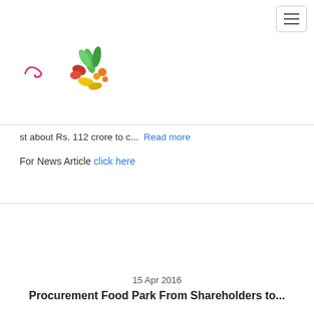[Figure (logo): Website logo with plant/grain illustration in red, green, orange and yellow colors, with a pink cursive text element to the left]
st about Rs. 112 crore to c...  Read more
For News Article click here
15 Apr 2016
Procurement Food Park From Shareholders to...